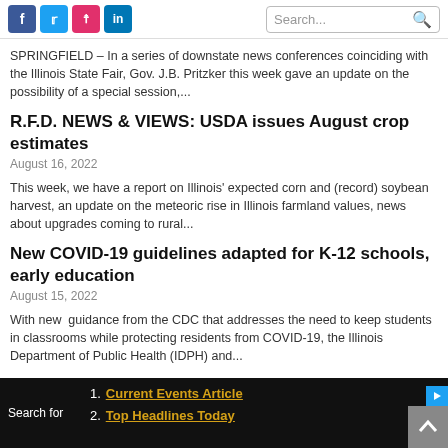Social icons: Facebook, Twitter, Instagram, LinkedIn. Search bar.
SPRINGFIELD – In a series of downstate news conferences coinciding with the Illinois State Fair, Gov. J.B. Pritzker this week gave an update on the possibility of a special session,...
R.F.D. NEWS & VIEWS: USDA issues August crop estimates
August 16, 2022
This week, we have a report on Illinois' expected corn and (record) soybean harvest, an update on the meteoric rise in Illinois farmland values, news about upgrades coming to rural...
New COVID-19 guidelines adapted for K-12 schools, early education
August 15, 2022
With new  guidance from the CDC that addresses the need to keep students in classrooms while protecting residents from COVID-19, the Illinois Department of Public Health (IDPH) and...
Search for  1. Current Events Article  2. Top Headlines Today